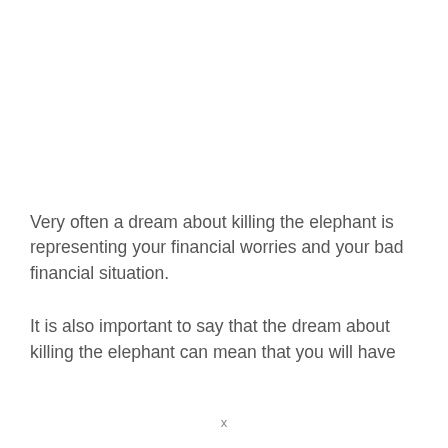Very often a dream about killing the elephant is representing your financial worries and your bad financial situation.
It is also important to say that the dream about killing the elephant can mean that you will have
x